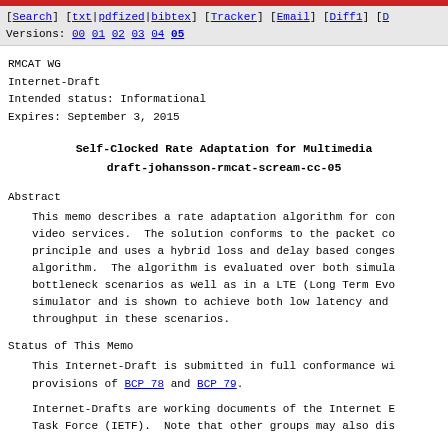[Search] [txt|pdfized|bibtex] [Tracker] [Email] [Diff1] [D Versions: 00 01 02 03 04 05
RMCAT WG
Internet-Draft
Intended status: Informational
Expires: September 3, 2015
Self-Clocked Rate Adaptation for Multimedia
draft-johansson-rmcat-scream-cc-05
Abstract
This memo describes a rate adaptation algorithm for con video services. The solution conforms to the packet co principle and uses a hybrid loss and delay based conges algorithm. The algorithm is evaluated over both simula bottleneck scenarios as well as in a LTE (Long Term Evo simulator and is shown to achieve both low latency and throughput in these scenarios.
Status of This Memo
This Internet-Draft is submitted in full conformance wi provisions of BCP 78 and BCP 79.
Internet-Drafts are working documents of the Internet E Task Force (IETF). Note that other groups may also dis